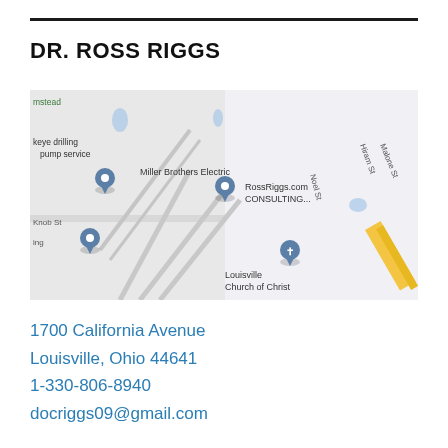DR. ROSS RIGGS
[Figure (map): Google Maps screenshot showing the area around RossRiggs.com CONSULTING location near Miller Brothers Electric, Louisville Church of Christ, with street labels Hiram St, Malone St, Noel St, Knob St, and a yellow highway visible at right.]
1700 California Avenue
Louisville, Ohio 44641
1-330-806-8940
docriggs09@gmail.com